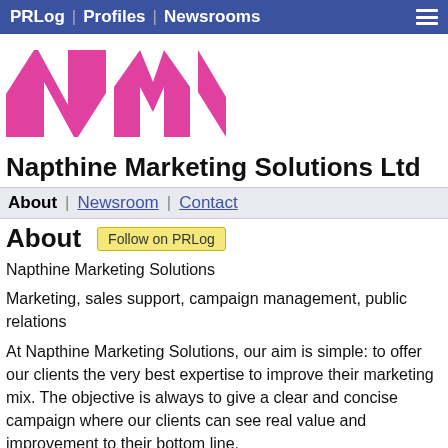PRLog | Profiles | Newsrooms
[Figure (logo): NMS logo with pink and white geometric letter shapes on white background]
Napthine Marketing Solutions Ltd
About | Newsroom | Contact
About
Napthine Marketing Solutions
Marketing, sales support, campaign management, public relations
At Napthine Marketing Solutions, our aim is simple: to offer our clients the very best expertise to improve their marketing mix. The objective is always to give a clear and concise campaign where our clients can see real value and improvement to their bottom line.
The services that we offer are normally only the reserve of much larger agencies. However, with the pool of associates available to